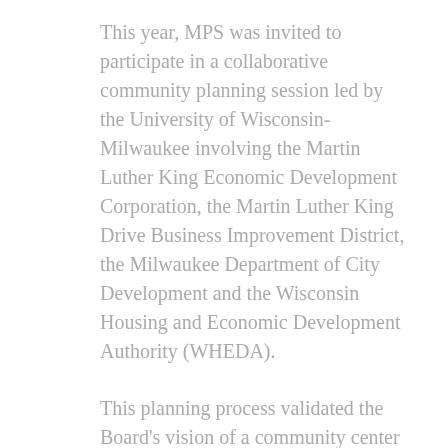This year, MPS was invited to participate in a collaborative community planning session led by the University of Wisconsin- Milwaukee involving the Martin Luther King Economic Development Corporation, the Martin Luther King Drive Business Improvement District, the Milwaukee Department of City Development and the Wisconsin Housing and Economic Development Authority (WHEDA).
This planning process validated the Board's vision of a community center for the site. The MPS Board voted in August to move forward with that vision after months of discussion.
– Since 2011, MPS has sold four school buildings, including three to successful independent charter schools – Milwaukee College Prep and Hmong...